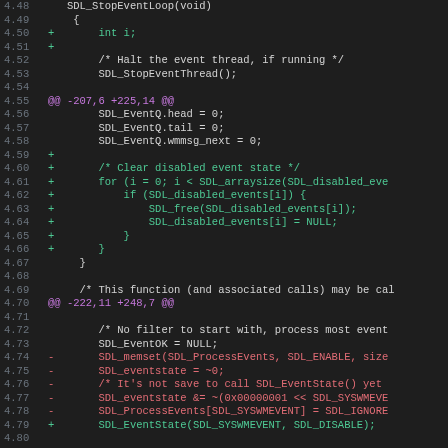[Figure (screenshot): Code diff view showing C source code lines 4.48–4.80 with added lines in green, removed lines in red, and diff hunk headers in magenta, on a dark background.]